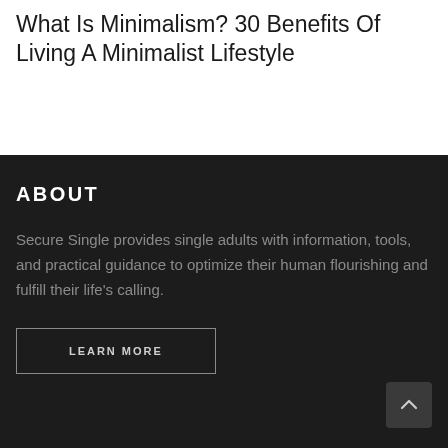What Is Minimalism? 30 Benefits Of Living A Minimalist Lifestyle
ABOUT
Secure Single provides single adults with information, tools, and practical guidance to optimize their human flourishing and fulfill their life’s calling.
LEARN MORE